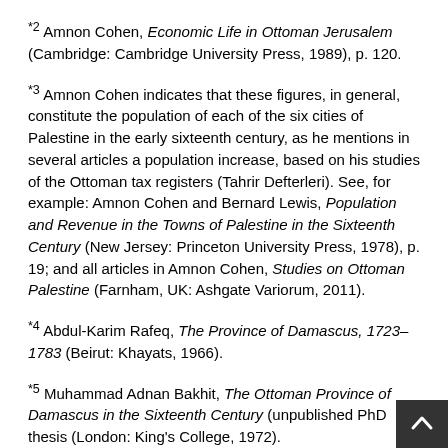*2 Amnon Cohen, Economic Life in Ottoman Jerusalem (Cambridge: Cambridge University Press, 1989), p. 120.
*3 Amnon Cohen indicates that these figures, in general, constitute the population of each of the six cities of Palestine in the early sixteenth century, as he mentions in several articles a population increase, based on his studies of the Ottoman tax registers (Tahrir Defterleri). See, for example: Amnon Cohen and Bernard Lewis, Population and Revenue in the Towns of Palestine in the Sixteenth Century (New Jersey: Princeton University Press, 1978), p. 19; and all articles in Amnon Cohen, Studies on Ottoman Palestine (Farnham, UK: Ashgate Variorum, 2011).
*4 Abdul-Karim Rafeq, The Province of Damascus, 1723–1783 (Beirut: Khayats, 1966).
*5 Muhammad Adnan Bakhit, The Ottoman Province of Damascus in the Sixteenth Century (unpublished PhD thesis (London: King's College, 1972).